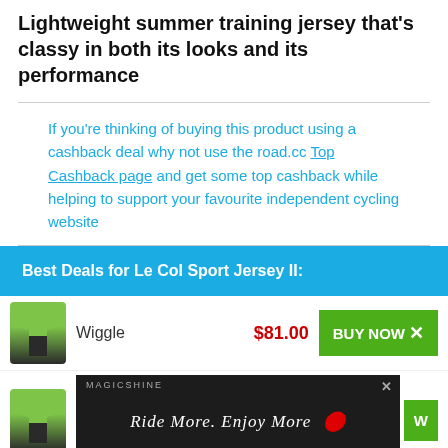Lightweight summer training jersey that's classy in both its looks and its performance
If you're thinking of buying this product using a cashback deal why not use the road.cc Top Cashback page and get some top cashback while helping to support your favourite independent cycling website
Best Deals for Le Col Sport Jersey II:
Wiggle  $81.00  BUY NOW
[Figure (other): Advertisement banner: Magicshine RideMore.Enjoy More with bicycle light imagery]